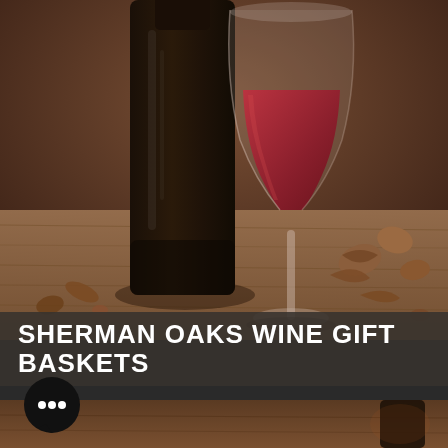[Figure (photo): Wine bottle and a glass of red wine on a wooden table with scattered walnuts and nut shells in the background. Warm brown tones throughout.]
SHERMAN OAKS WINE GIFT BASKETS
[Figure (illustration): Black circular chat bubble icon with three dots inside, suggesting a messaging or contact feature.]
[Figure (photo): Bottom strip showing partial view of wine bottle in a dark warm-toned setting.]